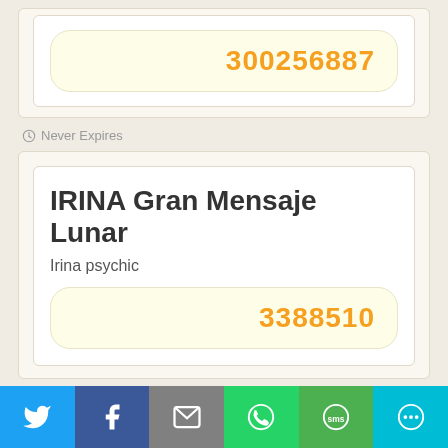300256887
Never Expires
IRINA Gran Mensaje Lunar
Irina psychic
3388510
Never Expires